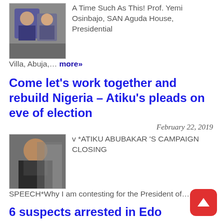[Figure (photo): Photo of two people at an event, one in academic or official regalia]
A Time Such As This! Prof. Yemi Osinbajo, SAN Aguda House, Presidential Villa, Abuja,… more»
Come let's work together and rebuild Nigeria – Atiku's pleads on eve of election
February 22, 2019
[Figure (photo): Photo of Atiku Abubakar in formal attire]
v *ATIKU ABUBAKAR 'S CAMPAIGN CLOSING SPEECH*Why I am contesting for the President of… more»
6 suspects arrested in Edo